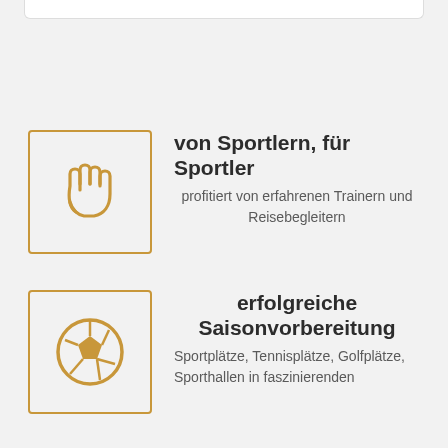[Figure (illustration): Gold/amber outlined square icon containing a hand/stop hand symbol in gold color]
von Sportlern, für Sportler
profitiert von erfahrenen Trainern und Reisebegleitern
[Figure (illustration): Gold/amber outlined square icon containing a soccer ball symbol in gold color]
erfolgreiche Saisonvorbereitung
Sportplätze, Tennisplätze, Golfplätze, Sporthallen in faszinierenden